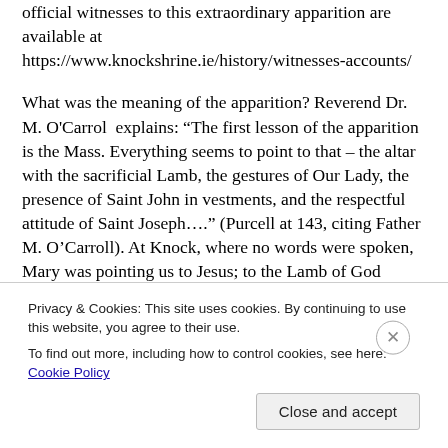official witnesses to this extraordinary apparition are available at https://www.knockshrine.ie/history/witnesses-accounts/
What was the meaning of the apparition? Reverend Dr. M. O'Carrol  explains: “The first lesson of the apparition is the Mass. Everything seems to point to that – the altar with the sacrificial Lamb, the gestures of Our Lady, the presence of Saint John in vestments, and the respectful attitude of Saint Joseph….” (Purcell at 143, citing Father M. O’Carroll). At Knock, where no words were spoken, Mary was pointing us to Jesus; to the Lamb of God
Privacy & Cookies: This site uses cookies. By continuing to use this website, you agree to their use.
To find out more, including how to control cookies, see here: Cookie Policy
Close and accept